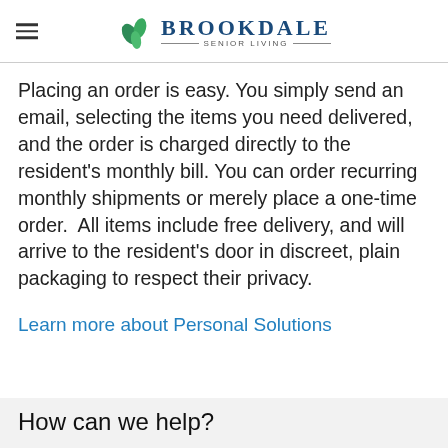Brookdale Senior Living
Placing an order is easy. You simply send an email, selecting the items you need delivered, and the order is charged directly to the resident's monthly bill. You can order recurring monthly shipments or merely place a one-time order.  All items include free delivery, and will arrive to the resident's door in discreet, plain packaging to respect their privacy.
Learn more about Personal Solutions
How can we help?